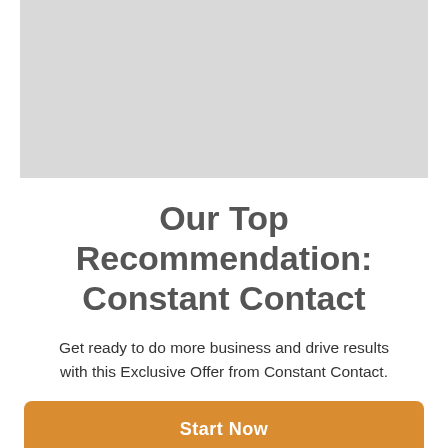[Figure (other): Gray rectangular placeholder image area at the top of the page]
Our Top Recommendation: Constant Contact
Get ready to do more business and drive results with this Exclusive Offer from Constant Contact.
Start Now